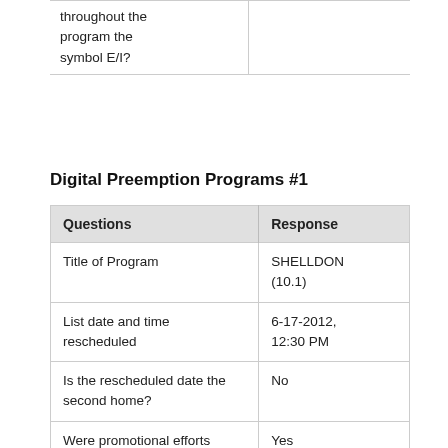| Questions | Response |
| --- | --- |
| throughout the program the symbol E/I? |  |
Digital Preemption Programs #1
| Questions | Response |
| --- | --- |
| Title of Program | SHELLDON (10.1) |
| List date and time rescheduled | 6-17-2012, 12:30 PM |
| Is the rescheduled date the second home? | No |
| Were promotional efforts made to notify the public of rescheduled date and time? | Yes |